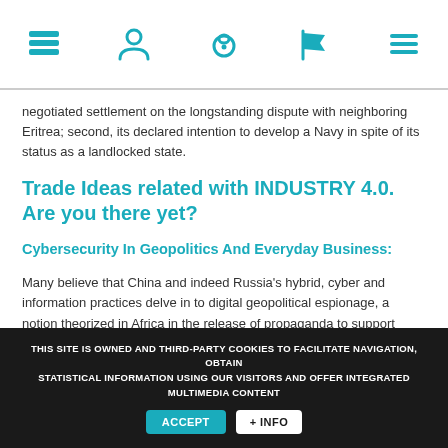[Navigation bar with icons: stacked books, user/person, letter O, flag, hamburger menu]
negotiated settlement on the longstanding dispute with neighboring Eritrea; second, its declared intention to develop a Navy in spite of its status as a landlocked state.
Trade Ideas related with INDUSTRY 4.0. Are you there yet?
Cybersecurity In Geopolitics And Everyday Business:
Many believe that China and indeed Russia's hybrid, cyber and information practices delve in to digital geopolitical espionage, a notion theorized in Africa in the release of propaganda to support integration in many emerging economies and later copied in the commercial space and in pursuit of information, the currency of the next generation.
There was a time when the 'Internet of Things' served as the scourge of
THIS SITE IS OWNED AND THIRD-PARTY COOKIES TO FACILITATE NAVIGATION, OBTAIN STATISTICAL INFORMATION USING OUR VISITORS AND OFFER INTEGRATED MULTIMEDIA CONTENT   ACCEPT   + INFO